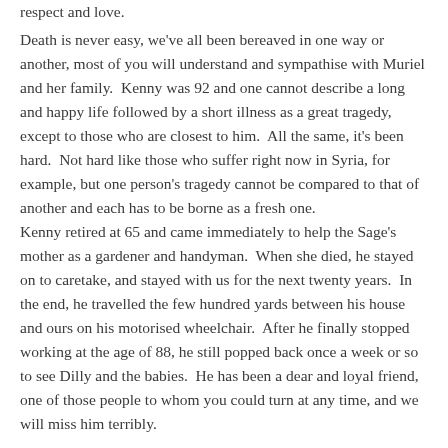respect and love.
Death is never easy, we've all been bereaved in one way or another, most of you will understand and sympathise with Muriel and her family.  Kenny was 92 and one cannot describe a long and happy life followed by a short illness as a great tragedy, except to those who are closest to him.  All the same, it's been hard.  Not hard like those who suffer right now in Syria, for example, but one person's tragedy cannot be compared to that of another and each has to be borne as a fresh one.
Kenny retired at 65 and came immediately to help the Sage's mother as a gardener and handyman.  When she died, he stayed on to caretake, and stayed with us for the next twenty years.  In the end, he travelled the few hundred yards between his house and ours on his motorised wheelchair.  After he finally stopped working at the age of 88, he still popped back once a week or so to see Dilly and the babies.  He has been a dear and loyal friend, one of those people to whom you could turn at any time, and we will miss him terribly.